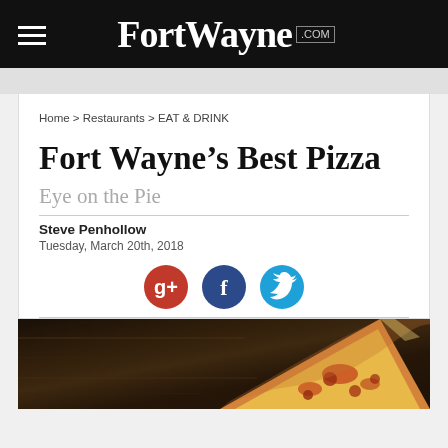FortWayne.com
Home > Restaurants > EAT & DRINK
Fort Wayne’s Best Pizza
Eye on the Pie
Steve Penhollow
Tuesday, March 20th, 2018
[Figure (illustration): Social share icons: Google+, Facebook, Twitter]
[Figure (photo): Photo of a pizza slice on a dark wooden table background]